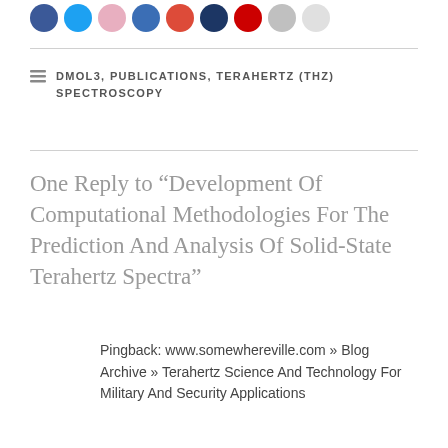[Figure (other): Row of social sharing icon circles in various colors (blue, light blue, pink/light, dark blue, red, dark navy, red, grey, light grey)]
DMOL3, PUBLICATIONS, TERAHERTZ (THZ) SPECTROSCOPY
One Reply to “Development Of Computational Methodologies For The Prediction And Analysis Of Solid-State Terahertz Spectra”
Pingback: www.somewhereville.com » Blog Archive » Terahertz Science And Technology For Military And Security Applications